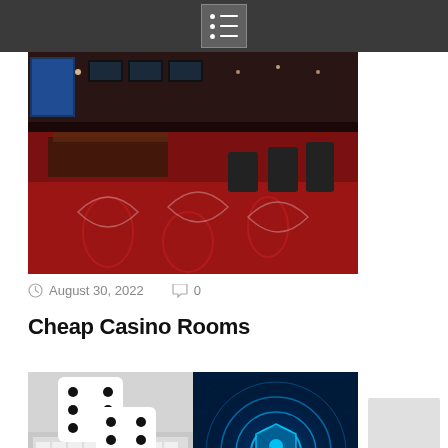Navigation menu
[Figure (photo): Interior of a casino sportsbook with red patterned carpet, dark leather chairs, betting counters, and TV screens displaying odds on the walls and ceiling]
August 30, 2022   0
Cheap Casino Rooms
[Figure (photo): Composite image split in two: left side shows white dice on a computer keyboard with an ace of hearts playing card; right side shows a blue digital security shield/lock icon on a dark tech background]